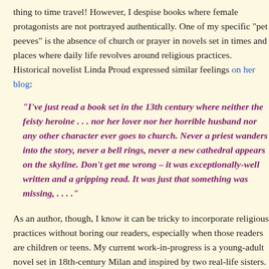thing to time travel! However, I despise books where female protagonists are not portrayed authentically. One of my specific "pet peeves" is the absence of church or prayer in novels set in times and places where daily life revolves around religious practices. Historical novelist Linda Proud expressed similar feelings on her blog:
"I've just read a book set in the 13th century where neither the feisty heroine . . . nor her lover nor her horrible husband nor any other character ever goes to church. Never a priest wanders into the story, never a bell rings, never a new cathedral appears on the skyline. Don't get me wrong – it was exceptionally-well written and a gripping read. It was just that something was missing, . . . ."
As an author, though, I know it can be tricky to incorporate religious practices without boring our readers, especially when those readers are children or teens. My current work-in-progress is a young-adult novel set in 18th-century Milan and inspired by two real-life sisters. More is known about the elder sister, Maria, a child prodigy who could speak seven languages by her teen years and who became famous as a female mathematician. I originally considered making her the novel's main character. But Maria was a devoutly religious girl who spent her teen years trying to convince her father to let her become a nun...